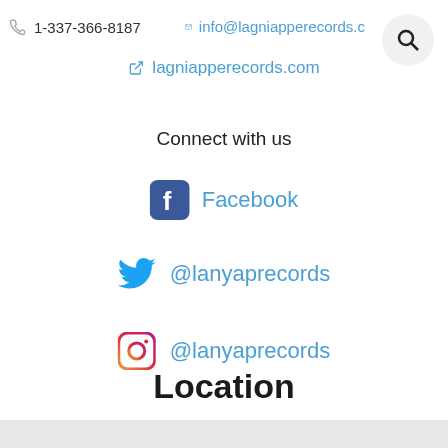1-337-366-8187
info@lagniapperecords.c
lagniapperecords.com
[Figure (illustration): Search magnifying glass icon button in a circular grey background, top right corner]
Connect with us
Facebook
@lanyaprecords
@lanyaprecords
Location